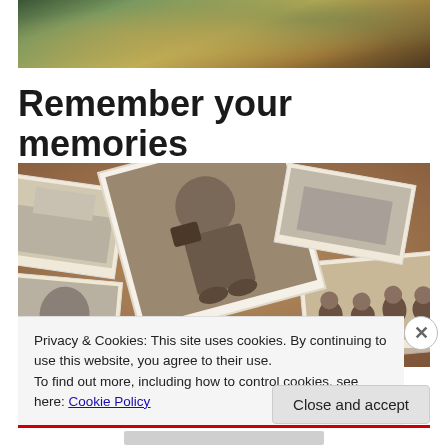[Figure (photo): Abstract colorful background photo with golden and green tones, partially cropped at top]
Remember your memories
[Figure (photo): A collection of scattered old vintage black-and-white photographs showing people including a child and group portraits]
Privacy & Cookies: This site uses cookies. By continuing to use this website, you agree to their use.
To find out more, including how to control cookies, see here: Cookie Policy
Close and accept